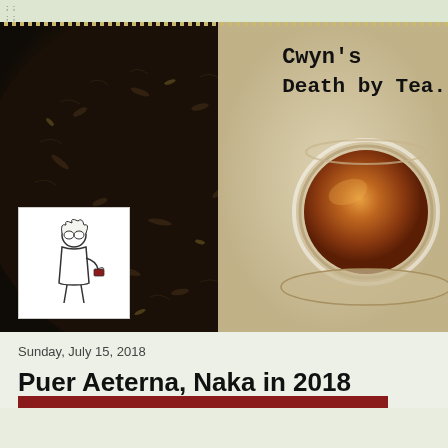; ;
[Figure (photo): Blog header photo showing a dark pressed pu-erh tea cake on the left, a glass cup of amber-colored brewed tea on the right, placed on a cream/beige surface. Overlaid is the blog logo (line drawing of a figure holding a teacup) and the blog name 'Cwyn's Death by Tea' in typewriter-style font.]
Sunday, July 15, 2018
Puer Aeterna, Naka in 2018